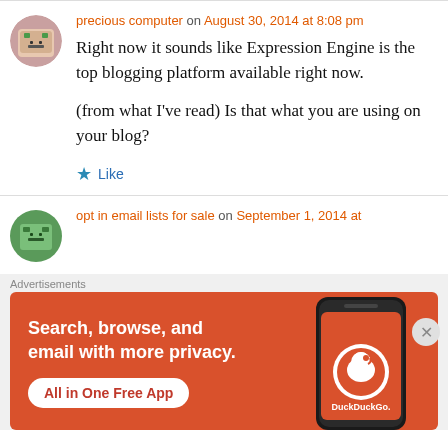precious computer on August 30, 2014 at 8:08 pm
Right now it sounds like Expression Engine is the top blogging platform available right now.

(from what I've read) Is that what you are using on your blog?
Like
opt in email lists for sale on September 1, 2014 at
[Figure (screenshot): DuckDuckGo advertisement banner: orange background with white text 'Search, browse, and email with more privacy. All in One Free App' and DuckDuckGo logo with smartphone graphic]
Advertisements